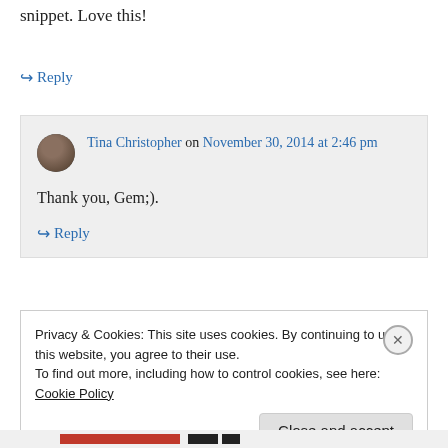snippet. Love this!
↪ Reply
Tina Christopher on November 30, 2014 at 2:46 pm
Thank you, Gem;).
↪ Reply
Privacy & Cookies: This site uses cookies. By continuing to use this website, you agree to their use.
To find out more, including how to control cookies, see here: Cookie Policy
Close and accept